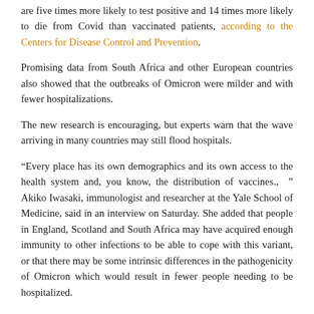are five times more likely to test positive and 14 times more likely to die from Covid than vaccinated patients, according to the Centers for Disease Control and Prevention.
Promising data from South Africa and other European countries also showed that the outbreaks of Omicron were milder and with fewer hospitalizations.
The new research is encouraging, but experts warn that the wave arriving in many countries may still flood hospitals.
“Every place has its own demographics and its own access to the health system and, you know, the distribution of vaccines., ” Akiko Iwasaki, immunologist and researcher at the Yale School of Medicine, said in an interview on Saturday. She added that people in England, Scotland and South Africa may have acquired enough immunity to other infections to be able to cope with this variant, or that there may be some intrinsic differences in the pathogenicity of Omicron which would result in fewer people needing to be hospitalized.
“We can’t assume the same things will happen in the United States, ” Dr.